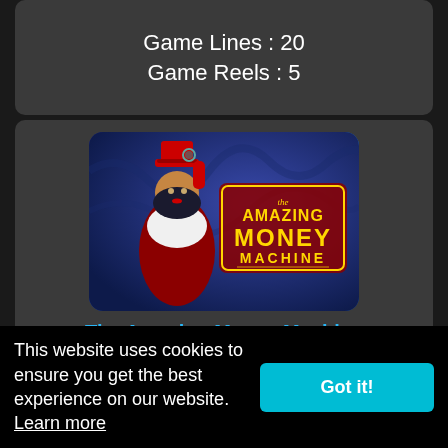Game Lines : 20
Game Reels : 5
[Figure (illustration): The Amazing Money Machine slot game cover art featuring a woman in a red top hat and corset with steampunk styling, gold ornate title text reading 'the AMAZING MONEY MACHINE' on a dark blue background]
The Amazing Money Machine
P  BR  FS  SS  W  (black badge)
This website uses cookies to ensure you get the best experience on our website.  Learn more
Got it!
Game Reels : 5